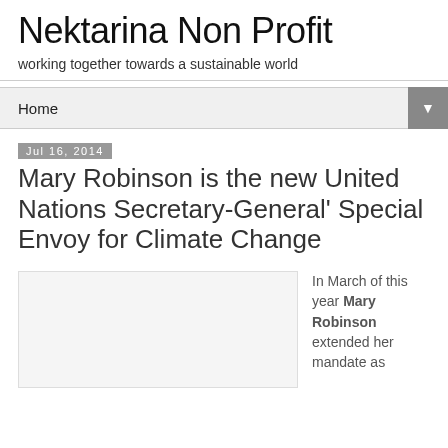Nektarina Non Profit
working together towards a sustainable world
Home ▼
Jul 16, 2014
Mary Robinson is the new United Nations Secretary-General' Special Envoy for Climate Change
In March of this year Mary Robinson extended her mandate as